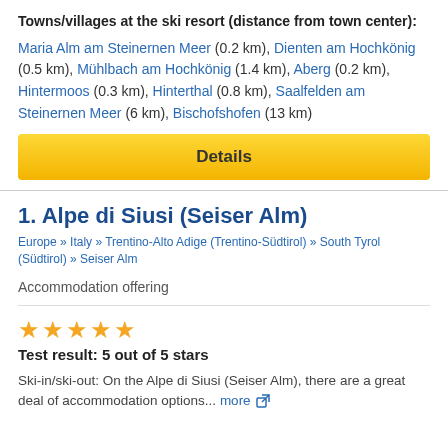Towns/villages at the ski resort (distance from town center): Maria Alm am Steinernen Meer (0.2 km), Dienten am Hochkönig (0.5 km), Mühlbach am Hochkönig (1.4 km), Aberg (0.2 km), Hintermoos (0.3 km), Hinterthal (0.8 km), Saalfelden am Steinernen Meer (6 km), Bischofshofen (13 km)
Details
1. Alpe di Siusi (Seiser Alm)
Europe » Italy » Trentino-Alto Adige (Trentino-Südtirol) » South Tyrol (Südtirol) » Seiser Alm
Accommodation offering
Test result: 5 out of 5 stars
Ski-in/ski-out: On the Alpe di Siusi (Seiser Alm), there are a great deal of accommodation options... more